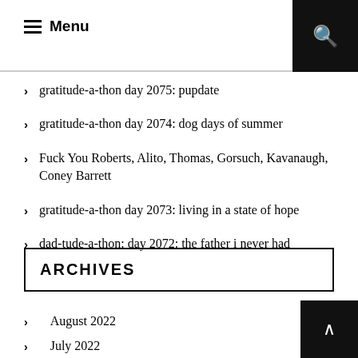Menu | Search
gratitude-a-thon day 2075: pupdate
gratitude-a-thon day 2074: dog days of summer
Fuck You Roberts, Alito, Thomas, Gorsuch, Kavanaugh, Coney Barrett
gratitude-a-thon day 2073: living in a state of hope
dad-tude-a-thon: day 2072: the father i never had
ARCHIVES
August 2022
July 2022